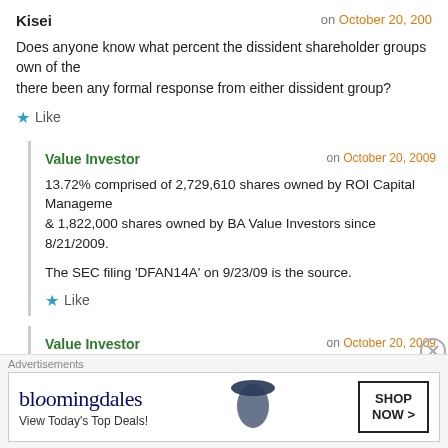Kisei on October 20, 200...
Does anyone know what percent the dissident shareholder groups own of the... there been any formal response from either dissident group?
Like
Value Investor on October 20, 2009
13.72% comprised of 2,729,610 shares owned by ROI Capital Management & 1,822,000 shares owned by BA Value Investors since 8/21/2009.
The SEC filing 'DFAN14A' on 9/23/09 is the source.
Like
Value Investor on October 20, 2009
There's been many formal responses. Read the SEC filings. All the questi... can be answered there.
Advertisements
[Figure (other): Bloomingdale's advertisement: bloomingdales logo, 'View Today's Top Deals!' text, woman in hat, SHOP NOW button]